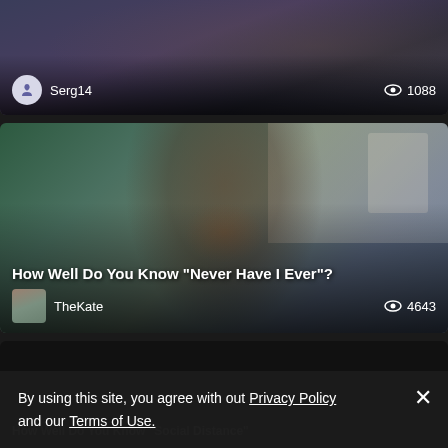[Figure (screenshot): Top content card partially visible, dark background with 'People" Series?' title text visible, user Serg14 with 1088 views]
Serg14
1088
[Figure (photo): Middle card showing a young woman with long dark hair in prayer-like pose, from Netflix show Never Have I Ever]
How Well Do You Know "Never Have I Ever"?
TheKate
4643
[Figure (screenshot): Bottom content card partially visible, dark background showing beginning of 'How Well Do You Know "Social Distance"' title]
How Well Do You Know "Social Distance"
By using this site, you agree with out Privacy Policy and our Terms of Use.